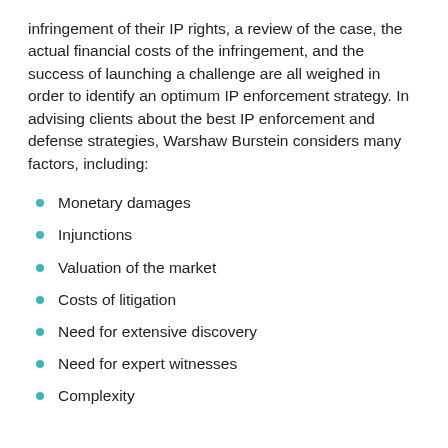infringement of their IP rights, a review of the case, the actual financial costs of the infringement, and the success of launching a challenge are all weighed in order to identify an optimum IP enforcement strategy. In advising clients about the best IP enforcement and defense strategies, Warshaw Burstein considers many factors, including:
Monetary damages
Injunctions
Valuation of the market
Costs of litigation
Need for extensive discovery
Need for expert witnesses
Complexity